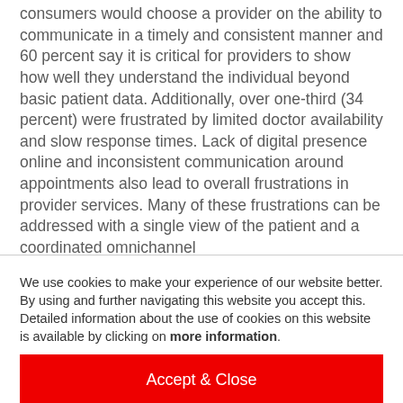consumers would choose a provider on the ability to communicate in a timely and consistent manner and 60 percent say it is critical for providers to show how well they understand the individual beyond basic patient data. Additionally, over one-third (34 percent) were frustrated by limited doctor availability and slow response times. Lack of digital presence online and inconsistent communication around appointments also lead to overall frustrations in provider services. Many of these frustrations can be addressed with a single view of the patient and a coordinated omnichannel
We use cookies to make your experience of our website better. By using and further navigating this website you accept this. Detailed information about the use of cookies on this website is available by clicking on more information.
Accept & Close